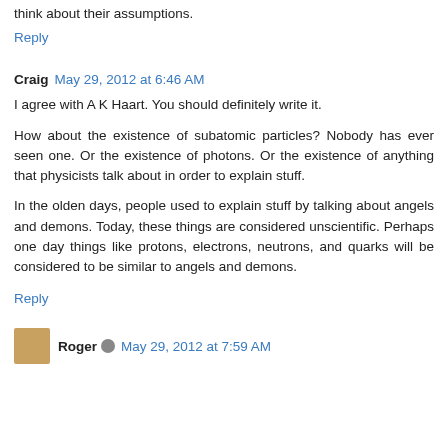Write it if you have the time. Stir things up and make people think about their assumptions.
Reply
Craig  May 29, 2012 at 6:46 AM
I agree with A K Haart. You should definitely write it.
How about the existence of subatomic particles? Nobody has ever seen one. Or the existence of photons. Or the existence of anything that physicists talk about in order to explain stuff.
In the olden days, people used to explain stuff by talking about angels and demons. Today, these things are considered unscientific. Perhaps one day things like protons, electrons, neutrons, and quarks will be considered to be similar to angels and demons.
Reply
Roger  May 29, 2012 at 7:59 AM